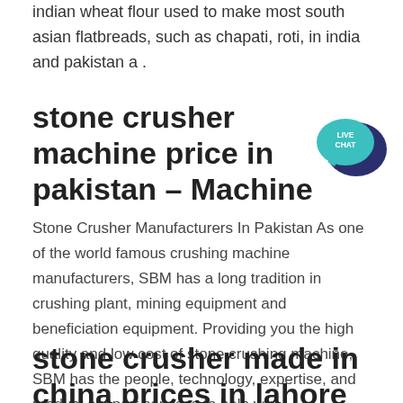indian wheat flour used to make most south asian flatbreads, such as chapati, roti, in india and pakistan a .
stone crusher machine price in pakistan – Machine
[Figure (other): Live Chat speech bubble icon in teal and dark navy blue]
Stone Crusher Manufacturers In Pakistan As one of the world famous crushing machine manufacturers, SBM has a long tradition in crushing plant, mining equipment and beneficiation equipment. Providing you the high quality and low cost of stone crushing machine, SBM has the people, technology, expertise, and product support services to help you ...
stone crusher made in china prices in lahore pakis